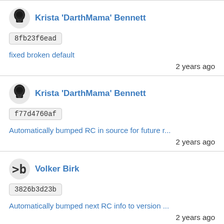Krista 'DarthMama' Bennett | 8fb23f6ead | fixed broken default | 2 years ago
Krista 'DarthMama' Bennett | f77d4760af | Automatically bumped RC in source for future r... | 2 years ago
Volker Birk | 3826b3d23b | Automatically bumped next RC info to version ... | 2 years ago